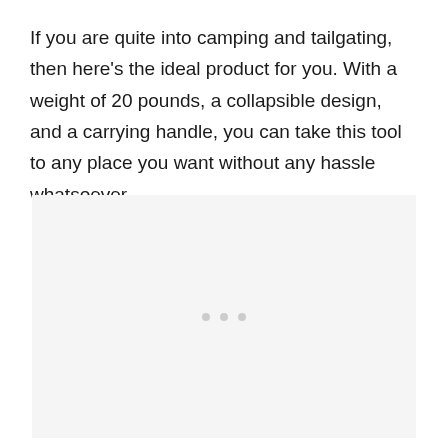If you are quite into camping and tailgating, then here's the ideal product for you. With a weight of 20 pounds, a collapsible design, and a carrying handle, you can take this tool to any place you want without any hassle whatsoever.
[Figure (other): Light gray placeholder box with three small gray dots centered near the bottom, indicating an advertisement or embedded content placeholder.]